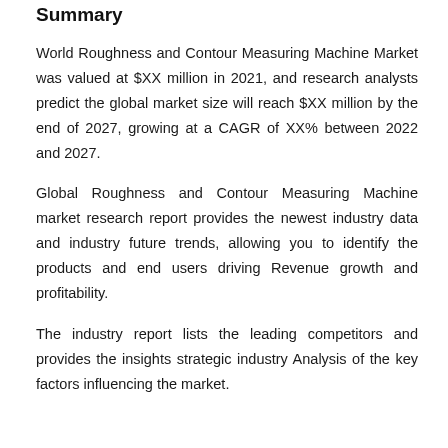Summary
World Roughness and Contour Measuring Machine Market was valued at $XX million in 2021, and research analysts predict the global market size will reach $XX million by the end of 2027, growing at a CAGR of XX% between 2022 and 2027.
Global Roughness and Contour Measuring Machine market research report provides the newest industry data and industry future trends, allowing you to identify the products and end users driving Revenue growth and profitability.
The industry report lists the leading competitors and provides the insights strategic industry Analysis of the key factors influencing the market.